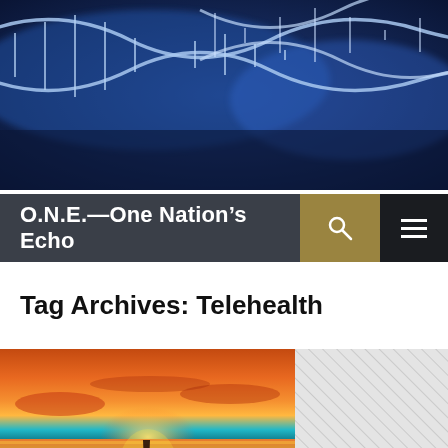[Figure (photo): Blue DNA double helix strands banner image]
O.N.E.—One Nation's Echo
Tag Archives: Telehealth
[Figure (photo): Sunset over water with silhouette of person, orange and teal tones]
[Figure (other): Diagonal hatched gray pattern sidebar]
Follow